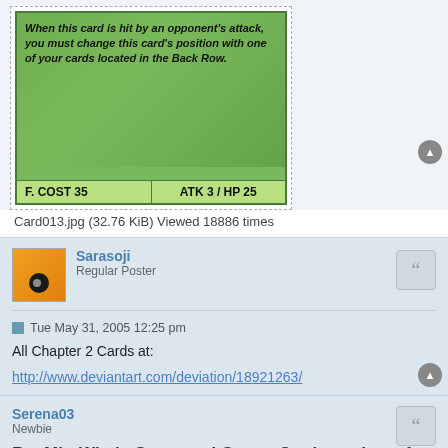[Figure (screenshot): Game card image showing green card with italic bold text: 'When this card is hit by an opponent's attack, you must change this card's position with one of your cards located in the Back Row.' Stats at bottom: F. COST 35 | ATK 3 / HP 25]
Card013.jpg (32.76 KiB) Viewed 18886 times
Sarasoji
Regular Poster
Tue May 31, 2005 12:25 pm
All Chapter 2 Cards at:
http://www.deviantart.com/deviation/18921263/
Serena03
Newbie
Re: MintWhelp Saga card Game: Cards made so far
Wed Aug 03, 2011 1:54 am